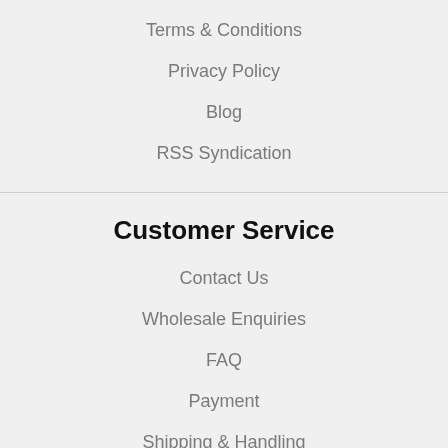Terms & Conditions
Privacy Policy
Blog
RSS Syndication
Customer Service
Contact Us
Wholesale Enquiries
FAQ
Payment
Shipping & Handling
Return Policy
Suggest Improvements
Account